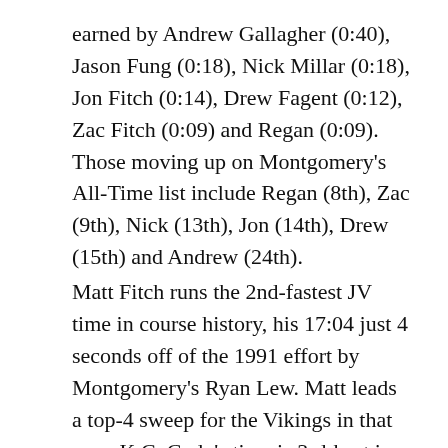earned by Andrew Gallagher (0:40), Jason Fung (0:18), Nick Millar (0:18), Jon Fitch (0:14), Drew Fagent (0:12), Zac Fitch (0:09) and Regan (0:09). Those moving up on Montgomery's All-Time list include Regan (8th), Zac (9th), Nick (13th), Jon (14th), Drew (15th) and Andrew (24th). Matt Fitch runs the 2nd-fastest JV time in course history, his 17:04 just 4 seconds off of the 1991 effort by Montgomery's Ryan Lew. Matt leads a top-4 sweep for the Vikings in that race. K.C. Cody's time is 3rd-best in course history for JV runners. Matt and K.C. also become the 2nd- and 3rd-fastest freshmen in school history, behind teammate Regan Masi's mark from a year ago.